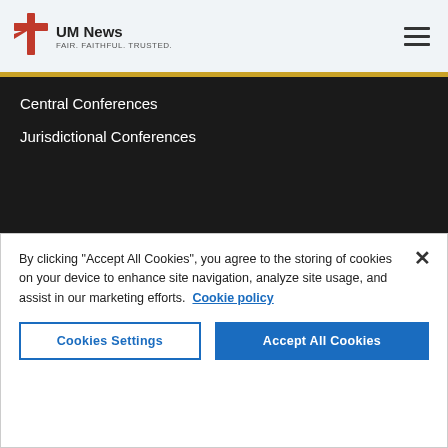UM News — FAIR. FAITHFUL. TRUSTED.
Central Conferences
Jurisdictional Conferences
FOLLOW US
[Figure (infographic): Five social media icons in white circles on dark background: Facebook, Twitter, Flickr, YouTube, RSS]
By clicking "Accept All Cookies", you agree to the storing of cookies on your device to enhance site navigation, analyze site usage, and assist in our marketing efforts. Cookie policy
Cookies Settings | Accept All Cookies